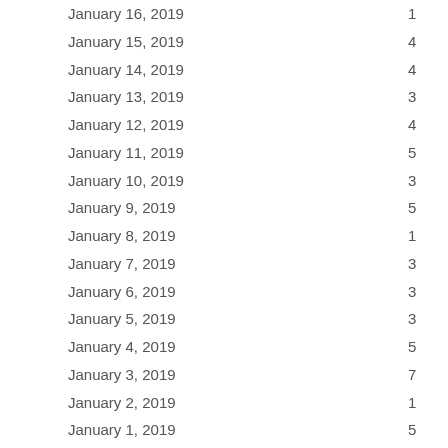| Date | Value |
| --- | --- |
| January 16, 2019 | 1 |
| January 15, 2019 | 4 |
| January 14, 2019 | 4 |
| January 13, 2019 | 3 |
| January 12, 2019 | 4 |
| January 11, 2019 | 5 |
| January 10, 2019 | 3 |
| January 9, 2019 | 5 |
| January 8, 2019 | 1 |
| January 7, 2019 | 3 |
| January 6, 2019 | 3 |
| January 5, 2019 | 3 |
| January 4, 2019 | 5 |
| January 3, 2019 | 7 |
| January 2, 2019 | 1 |
| January 1, 2019 | 5 |
| December 31, 2018 | 4 |
| December 30, 2018 | 0 |
| December 29, 2018 | 2 |
| December 28, 2018 | 2 |
| December 27, 2018 | 3 |
| December 26, 2018 | 3 |
| December 25, 2018 | 4 |
| December 24, 2018 | 2 |